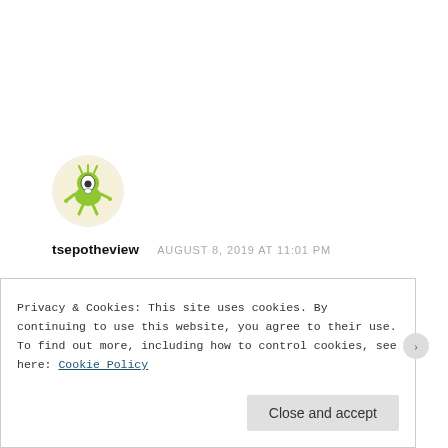[Figure (illustration): Circular avatar image of a cartoon green monster character with spiky limbs on a light yellow/cream background]
tsepotheview   AUGUST 8, 2019 AT 11:01 PM
Nice one…
★ Liked by 2 people
REPLY
Privacy & Cookies: This site uses cookies. By continuing to use this website, you agree to their use.
To find out more, including how to control cookies, see here: Cookie Policy
Close and accept